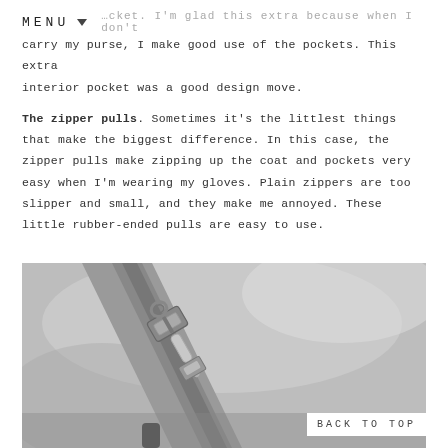MENU
carry my purse, I make good use of the pockets. This extra interior pocket was a good design move.
The zipper pulls. Sometimes it’s the littlest things that make the biggest difference. In this case, the zipper pulls make zipping up the coat and pockets very easy when I’m wearing my gloves. Plain zippers are too slipper and small, and they make me annoyed. These little rubber-ended pulls are easy to use.
[Figure (photo): Close-up photograph of a metal zipper pull on a gray fabric coat, showing the zipper mechanism and fabric texture in detail.]
BACK TO TOP